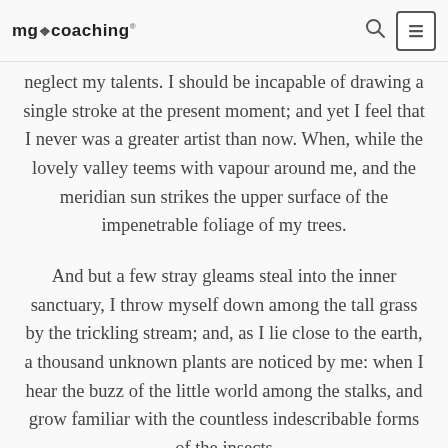mg coaching
neglect my talents. I should be incapable of drawing a single stroke at the present moment; and yet I feel that I never was a greater artist than now. When, while the lovely valley teems with vapour around me, and the meridian sun strikes the upper surface of the impenetrable foliage of my trees.
And but a few stray gleams steal into the inner sanctuary, I throw myself down among the tall grass by the trickling stream; and, as I lie close to the earth, a thousand unknown plants are noticed by me: when I hear the buzz of the little world among the stalks, and grow familiar with the countless indescribable forms of the insects